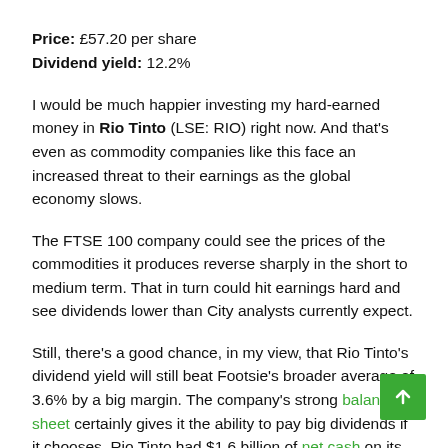Price: £57.20 per share
Dividend yield: 12.2%
I would be much happier investing my hard-earned money in Rio Tinto (LSE: RIO) right now. And that's even as commodity companies like this face an increased threat to their earnings as the global economy slows.
The FTSE 100 company could see the prices of the commodities it produces reverse sharply in the short to medium term. That in turn could hit earnings hard and see dividends lower than City analysts currently expect.
Still, there's a good chance, in my view, that Rio Tinto's dividend yield will still beat Footsie's broader average of 3.6% by a big margin. The company's strong balance sheet certainly gives it the ability to pay big dividends if it chooses. Rio Tinto had $1.6 billion of net cash on its books in December.